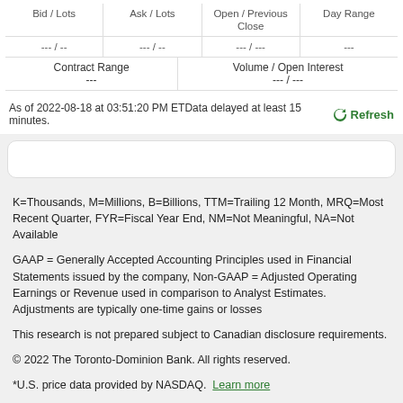| Bid / Lots | Ask / Lots | Open / Previous Close | Day Range |
| --- | --- | --- | --- |
| --- / -- | --- / -- | --- / --- | --- |
| Contract Range | Volume / Open Interest |
| --- | --- |
| --- | --- / --- |
As of 2022-08-18 at 03:51:20 PM ET Data delayed at least 15 minutes.
K=Thousands, M=Millions, B=Billions, TTM=Trailing 12 Month, MRQ=Most Recent Quarter, FYR=Fiscal Year End, NM=Not Meaningful, NA=Not Available
GAAP = Generally Accepted Accounting Principles used in Financial Statements issued by the company, Non-GAAP = Adjusted Operating Earnings or Revenue used in comparison to Analyst Estimates. Adjustments are typically one-time gains or losses
This research is not prepared subject to Canadian disclosure requirements.
© 2022 The Toronto-Dominion Bank. All rights reserved.
*U.S. price data provided by NASDAQ.  Learn more
Quotes, News, and Fundamentals provided by  THOMSON REUTERS  View restrictions